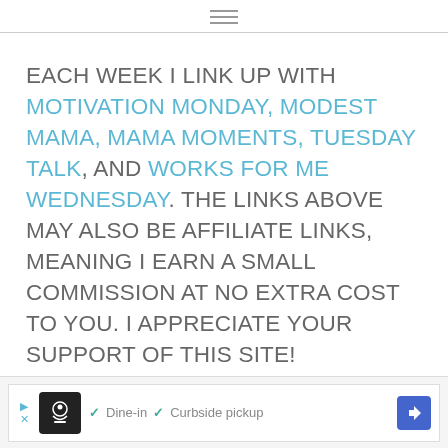≡
EACH WEEK I LINK UP WITH MOTIVATION MONDAY, MODEST MAMA, MAMA MOMENTS, TUESDAY TALK, AND WORKS FOR ME WEDNESDAY. THE LINKS ABOVE MAY ALSO BE AFFILIATE LINKS, MEANING I EARN A SMALL COMMISSION AT NO EXTRA COST TO YOU. I APPRECIATE YOUR SUPPORT OF THIS SITE!
[Figure (screenshot): Advertisement bar at bottom showing a restaurant logo, checkmarks for Dine-in and Curbside pickup, and a navigation arrow icon]